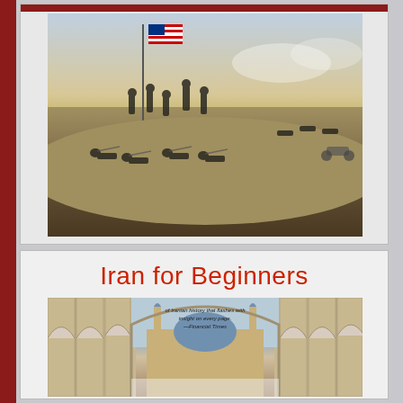[Figure (illustration): Historical painting of American soldiers in battle, raising the US flag on a hill, with troops firing rifles in the foreground]
Iran for Beginners
[Figure (photo): Photograph of an ornate Iranian mosque courtyard with arched colonnades and minarets, likely the Imam Mosque in Isfahan, viewed through a large archway. Overlaid text reads: 'of Iranian history that flashes with insight on every page.' —Financial Times]